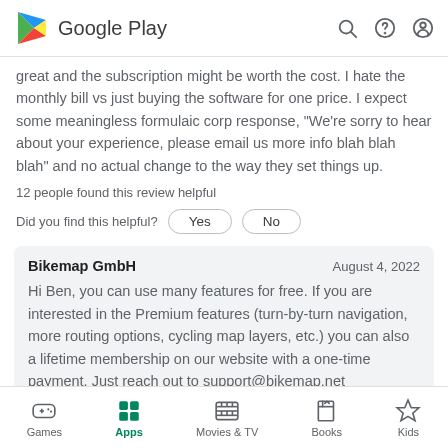Google Play
great and the subscription might be worth the cost. I hate the monthly bill vs just buying the software for one price. I expect some meaningless formulaic corp response, "We're sorry to hear about your experience, please email us more info blah blah blah" and no actual change to the way they set things up.
12 people found this review helpful
Did you find this helpful?
| Developer | Date | Response |
| --- | --- | --- |
| Bikemap GmbH | August 4, 2022 | Hi Ben, you can use many features for free. If you are interested in the Premium features (turn-by-turn navigation, more routing options, cycling map layers, etc.) you can also a lifetime membership on our website with a one-time payment. Just reach out to support@bikemap.net |
Games  Apps  Movies & TV  Books  Kids